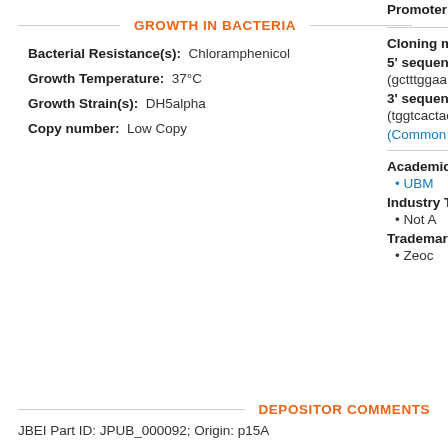GROWTH IN BACTERIA
Bacterial Resistance(s): Chloramphenicol
Growth Temperature: 37°C
Growth Strain(s): DH5alpha
Copy number: Low Copy
Promoter: [partial, cut off]
Cloning me[thod, cut off]
5' sequenci[ng, cut off]
(gctttggaa[cut off])
3' sequenci[ng, cut off]
(tggtcactao[cut off])
(Common S[equencing Primer, cut off])
Academic/[cut off]
UBM[cut off]
Industry Te[cut off]
Not A[vailable, cut off]
Trademark[s, cut off]
Zeoc[in, cut off]
DEPOSITOR COMMENTS
JBEI Part ID: JPUB_000092; Origin: p15A